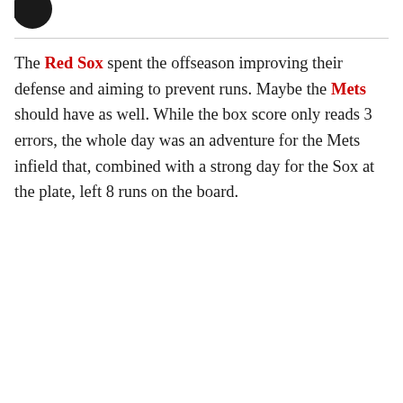[Figure (logo): Partial dark circular logo visible at top left]
The Red Sox spent the offseason improving their defense and aiming to prevent runs. Maybe the Mets should have as well. While the box score only reads 3 errors, the whole day was an adventure for the Mets infield that, combined with a strong day for the Sox at the plate, left 8 runs on the board.